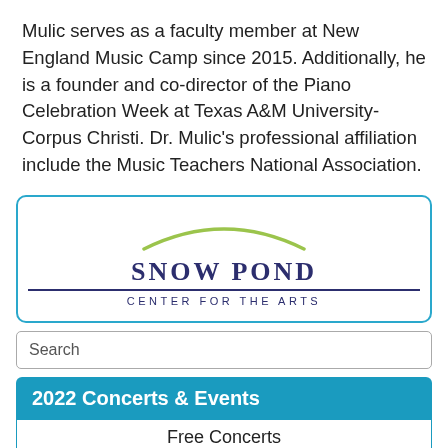Mulic serves as a faculty member at New England Music Camp since 2015. Additionally, he is a founder and co-director of the Piano Celebration Week at Texas A&M University-Corpus Christi. Dr. Mulic's professional affiliation include the Music Teachers National Association.
[Figure (logo): Snow Pond Center for the Arts logo with an arc above the text]
Search
2022 Concerts & Events
Free Concerts
Weekend Concerts
Faculty Recitals
+ More